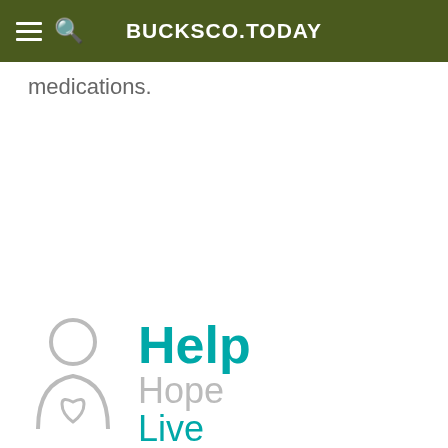BUCKSCO.TODAY
medications.
[Figure (logo): BucksCounty.Today website footer logo showing a stylized person/caregiver icon with the words Help, Hope, Live stacked vertically in teal and gray]